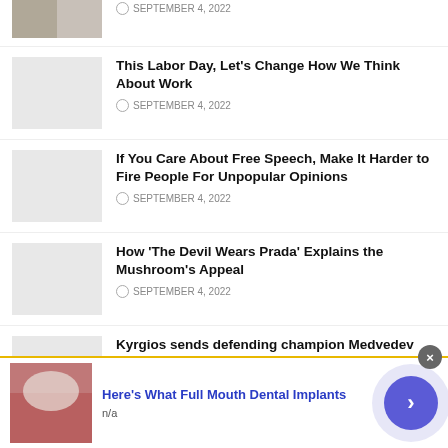[Figure (photo): Partial article thumbnail at top, cropped]
SEPTEMBER 4, 2022
This Labor Day, Let's Change How We Think About Work
SEPTEMBER 4, 2022
If You Care About Free Speech, Make It Harder to Fire People For Unpopular Opinions
SEPTEMBER 4, 2022
How 'The Devil Wears Prada' Explains the Mushroom's Appeal
SEPTEMBER 4, 2022
Kyrgios sends defending champion Medvedev crashing out of US Open
SEPTEMBER 4, 2022
Here's What Full Mouth Dental Implants
n/a